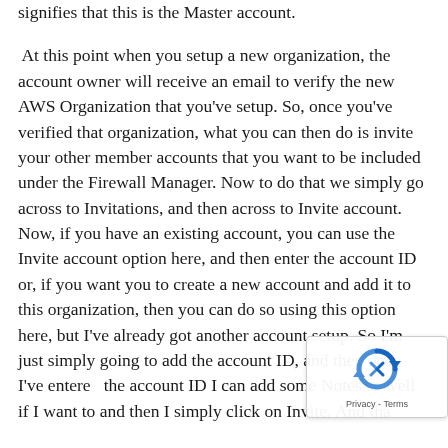signifies that this is the Master account.
At this point when you setup a new organization, the account owner will receive an email to verify the new AWS Organization that you've setup. So, once you've verified that organization, what you can then do is invite your other member accounts that you want to be included under the Firewall Manager. Now to do that we simply go across to Invitations, and then across to Invite account. Now, if you have an existing account, you can use the Invite account option here, and then enter the account ID or, if you want you to create a new account and add it to this organization, then you can do so using this option here, but I've already got another account setup. So I'm just simply going to add the account ID, and then once I've entered the account ID I can add some Notes as well if I want to and then I simply click on Invite. And tha...
[Figure (other): reCAPTCHA widget overlay in bottom-right corner showing circular arrow logo and 'Privacy - Terms' text]